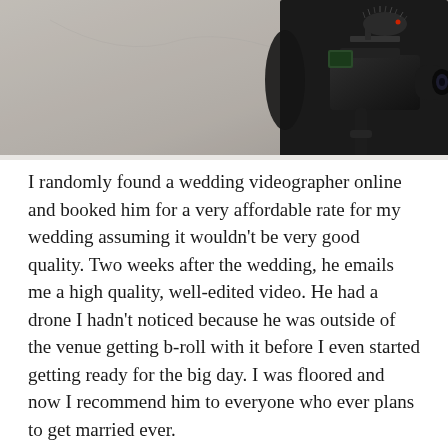[Figure (photo): A person in dark clothing holding a professional video camera with a furry microphone (dead cat windscreen) attached on top, mounted on a stabilizer rig. The background is light gray/beige.]
I randomly found a wedding videographer online and booked him for a very affordable rate for my wedding assuming it wouldn't be very good quality. Two weeks after the wedding, he emails me a high quality, well-edited video. He had a drone I hadn't noticed because he was outside of the venue getting b-roll with it before I even started getting ready for the big day. I was floored and now I recommend him to everyone who ever plans to get married ever.
Edit: He has definitely upped his prices since then (he did the videography for my wedding last